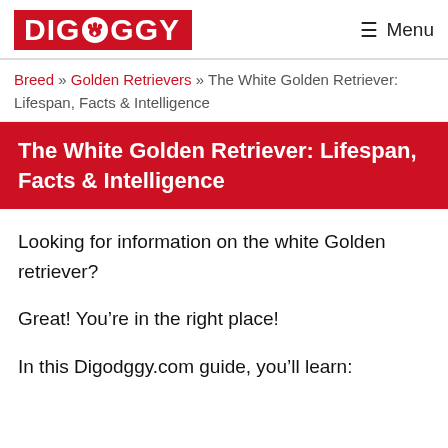DIGDOGGY  ≡ Menu
Breed » Golden Retrievers » The White Golden Retriever: Lifespan, Facts & Intelligence
The White Golden Retriever: Lifespan, Facts & Intelligence
Looking for information on the white Golden retriever?
Great! You're in the right place!
In this Digodggy.com guide, you'll learn: